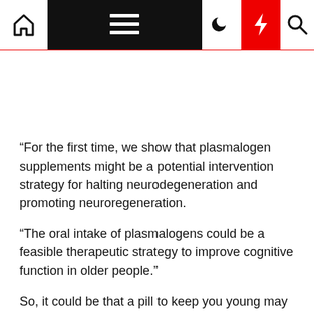Navigation bar with home, menu, dark mode, lightning, and search icons
“For the first time, we show that plasmalogen supplements might be a potential intervention strategy for halting neurodegeneration and promoting neuroregeneration.
“The oral intake of plasmalogens could be a feasible therapeutic strategy to improve cognitive function in older people.”
So, it could be that a pill to keep you young may not be such an unrealistic proposition after all – as long as it contains sea squirts.